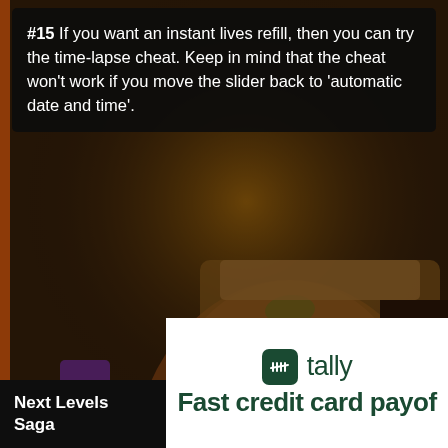[Figure (illustration): Candy Crush Saga style animated game illustration showing a smiling character with red/orange hair wearing a blue outfit with a star badge, and a large decorative candy/sweet structure with an 'S' letter in the center, set in a warm amber/orange toned environment]
#15 If you want an instant lives refill, then you can try the time-lapse cheat. Keep in mind that the cheat won't work if you move the slider back to 'automatic date and time'.
[Figure (logo): Tally app advertisement showing the Tally logo (green rounded square icon with white checkmark lines) and the text 'tally' alongside the tagline 'Fast credit card payoff']
Next Levels Saga